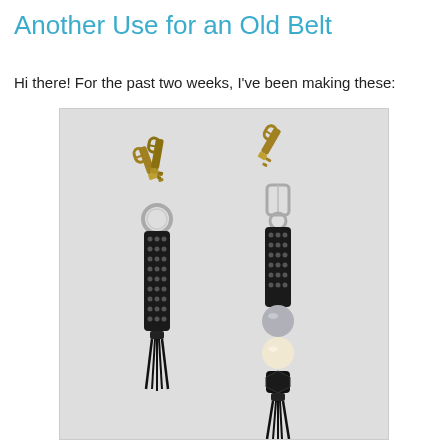Another Use for an Old Belt
Hi there! For the past two weeks, I've been making these:
[Figure (photo): Two key fobs made from old belt pieces. Left: a ring with two keys attached to a short black studded belt strip with a tassel at the bottom. Right: a single key attached to a short black studded belt strip with a silver bead, cream bead, black faceted bead, and black tassel at the bottom. Both on a white/light gray background.]